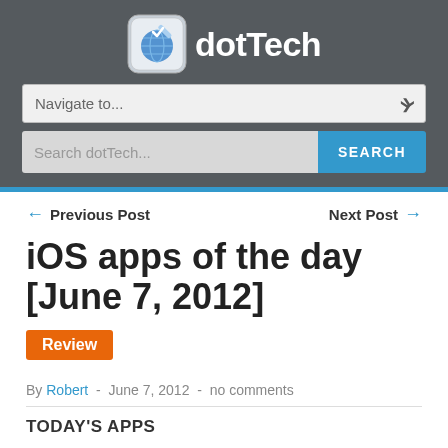dotTech
[Figure (screenshot): Navigation dropdown showing 'Navigate to...' and search bar with 'SEARCH' button]
← Previous Post   Next Post →
iOS apps of the day [June 7, 2012]
Review
By Robert - June 7, 2012 - no comments
TODAY'S APPS
TransZilla Translator (Translate from one language to another)
Trulia Real Estate (Find homes to buy